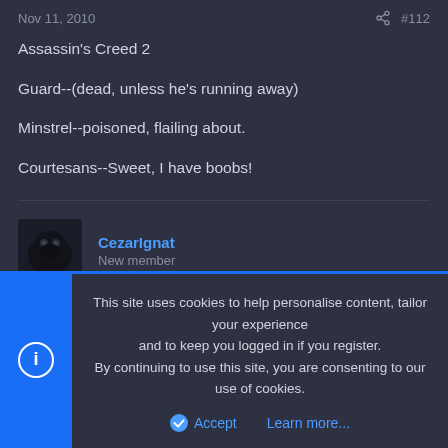Nov 11, 2010   #112
Assassin's Creed 2

Guard--(dead, unless he's running away)

Minstrel--poisoned, flailing about.

Courtesans--Sweet, I have boobs!
CezarIgnat
New member
Nov 11, 2010   #113
This site uses cookies to help personalise content, tailor your experience and to keep you logged in if you register.
By continuing to use this site, you are consenting to our use of cookies.
Accept   Learn more...